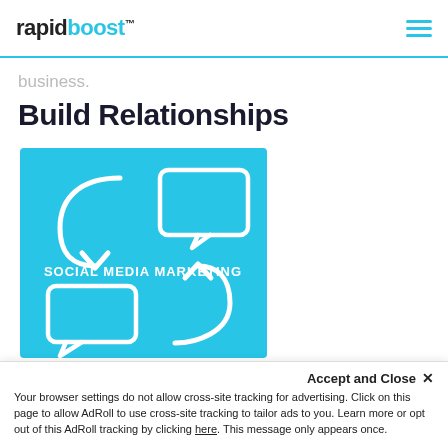rapidboost™
business.
Build Relationships
[Figure (illustration): Cyan/turquoise square image with white outline icons: a curved downward arrow, a speech bubble (monitor/screen shape), a speech bubble (rectangle), and a curved upward arrow, arranged in a cycle. Text reads 'SOCIAL MEDIA MARKETING' in white bold uppercase letters in the center.]
Accept and Close ✕
Your browser settings do not allow cross-site tracking for advertising. Click on this page to allow AdRoll to use cross-site tracking to tailor ads to you. Learn more or opt out of this AdRoll tracking by clicking here. This message only appears once.